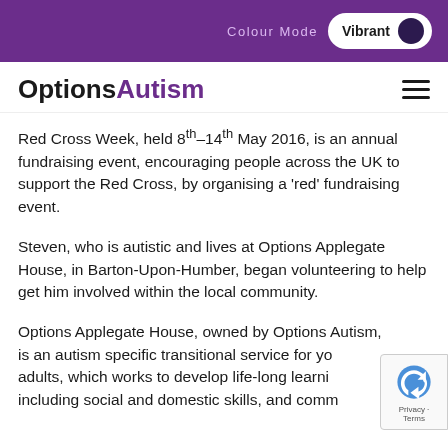Colour Mode  Vibrant
OptionsAutism
Red Cross Week, held 8th–14th May 2016, is an annual fundraising event, encouraging people across the UK to support the Red Cross, by organising a 'red' fundraising event.
Steven, who is autistic and lives at Options Applegate House, in Barton-Upon-Humber, began volunteering to help get him involved within the local community.
Options Applegate House, owned by Options Autism, is an autism specific transitional service for young adults, which works to develop life-long learning including social and domestic skills, and community